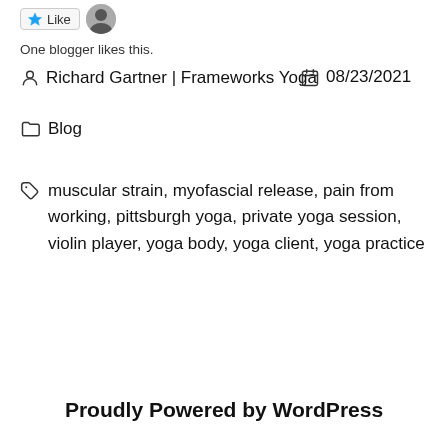[Figure (other): Like button with star icon and a blogger avatar thumbnail]
One blogger likes this.
Richard Gartner | Frameworks Yoga   08/23/2021
Blog
muscular strain, myofascial release, pain from working, pittsburgh yoga, private yoga session, violin player, yoga body, yoga client, yoga practice
Proudly Powered by WordPress